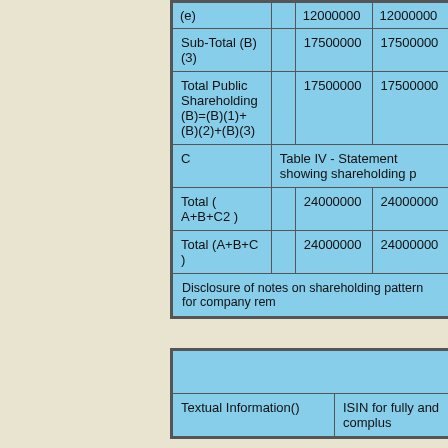| Category |  | Col3 | Col4 |
| --- | --- | --- | --- |
| (e) |  | 12000000 | 12000000 |
| Sub-Total (B)(3) |  | 17500000 | 17500000 |
| Total Public Shareholding (B)=(B)(1)+(B)(2)+(B)(3) |  | 17500000 | 17500000 |
| C | Table IV - Statement showing shareholding p |  |  |
| Total ( A+B+C2 ) |  | 24000000 | 24000000 |
| Total (A+B+C) |  | 24000000 | 24000000 |
| Disclosure of notes on shareholding pattern for company rem |  |  |  |
|  |  |
| --- | --- |
| Textual Information() | ISIN for fully and complus |